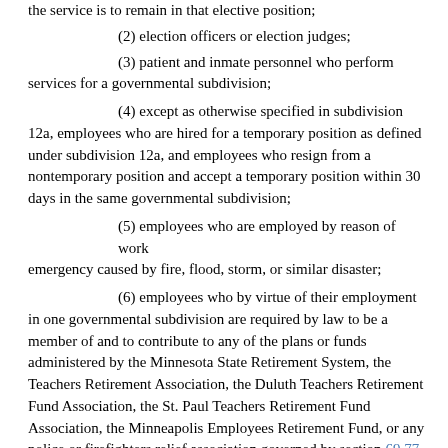the service is to remain in that elective position;
(2) election officers or election judges;
(3) patient and inmate personnel who perform services for a governmental subdivision;
(4) except as otherwise specified in subdivision 12a, employees who are hired for a temporary position as defined under subdivision 12a, and employees who resign from a nontemporary position and accept a temporary position within 30 days in the same governmental subdivision;
(5) employees who are employed by reason of work emergency caused by fire, flood, storm, or similar disaster;
(6) employees who by virtue of their employment in one governmental subdivision are required by law to be a member of and to contribute to any of the plans or funds administered by the Minnesota State Retirement System, the Teachers Retirement Association, the Duluth Teachers Retirement Fund Association, the St. Paul Teachers Retirement Fund Association, the Minneapolis Employees Retirement Fund, or any police or firefighters relief association governed by section 69.77 that has not